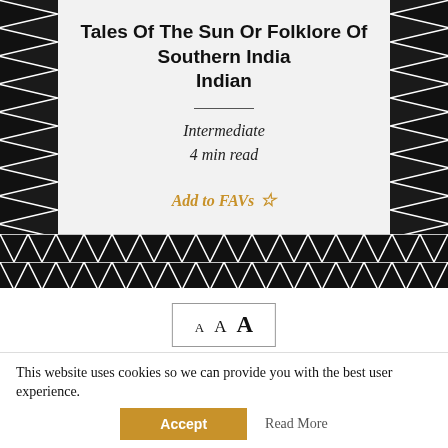Tales Of The Sun Or Folklore Of Southern India
Indian
Intermediate
4 min read
Add to FAVs ☆
[Figure (other): Black and white chevron zigzag decorative border pattern surrounding the title card]
[Figure (other): Font size selector buttons showing three sizes of the letter A in a bordered box]
[Figure (other): PDF download button in a bordered box]
This website uses cookies so we can provide you with the best user experience.
Accept
Read More